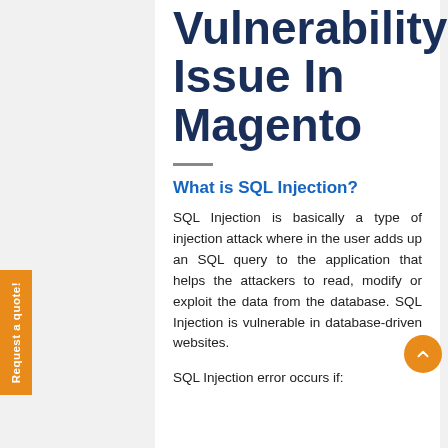Vulnerability Issue In Magento
What is SQL Injection?
SQL Injection is basically a type of injection attack where in the user adds up an SQL query to the application that helps the attackers to read, modify or exploit the data from the database. SQL Injection is vulnerable in database-driven websites.
SQL Injection error occurs if: